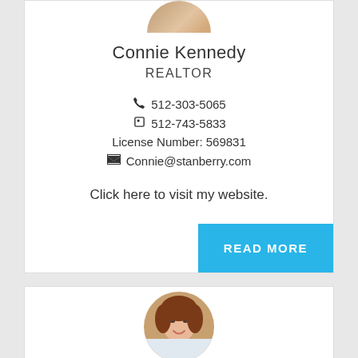[Figure (photo): Partial circular profile photo of agent at top of card]
Connie Kennedy
REALTOR
📞 512-303-5065
📱 512-743-5833
License Number: 569831
✉ Connie@stanberry.com
Click here to visit my website.
READ MORE
[Figure (photo): Circular profile photo of second agent (woman with auburn hair) at bottom card]